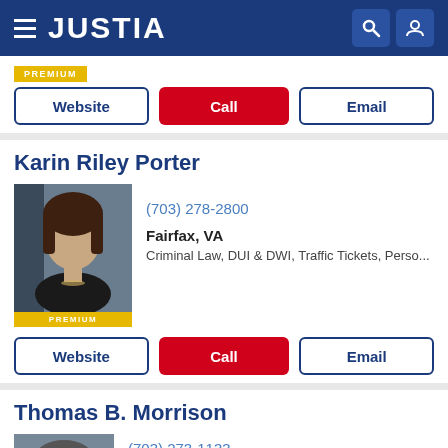JUSTIA
[Figure (other): PREMIUM badge banner]
Website | Call | Email (buttons)
Karin Riley Porter
[Figure (photo): Professional headshot of Karin Riley Porter with PREMIUM badge]
(703) 278-2800
Fairfax, VA
Criminal Law, DUI & DWI, Traffic Tickets, Perso...
Website | Call | Email (buttons)
Thomas B. Morrison
[Figure (photo): Professional headshot of Thomas B. Morrison]
(703) 273-1133
Fairfax, VA
Personal Injury